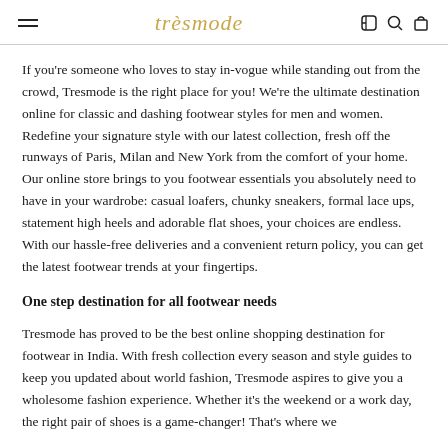trèsmode
If you're someone who loves to stay in-vogue while standing out from the crowd, Tresmode is the right place for you! We're the ultimate destination online for classic and dashing footwear styles for men and women. Redefine your signature style with our latest collection, fresh off the runways of Paris, Milan and New York from the comfort of your home. Our online store brings to you footwear essentials you absolutely need to have in your wardrobe: casual loafers, chunky sneakers, formal lace ups, statement high heels and adorable flat shoes, your choices are endless. With our hassle-free deliveries and a convenient return policy, you can get the latest footwear trends at your fingertips.
One step destination for all footwear needs
Tresmode has proved to be the best online shopping destination for footwear in India. With fresh collection every season and style guides to keep you updated about world fashion, Tresmode aspires to give you a wholesome fashion experience. Whether it's the weekend or a work day, the right pair of shoes is a game-changer! That's where we